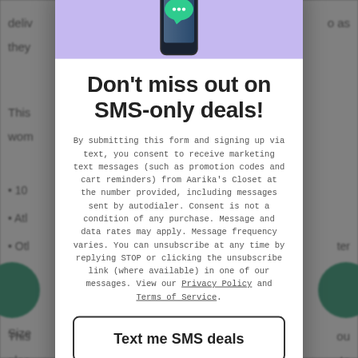[Figure (illustration): Smartphone with chat bubble icon shown above a popup modal]
Don't miss out on SMS-only deals!
By submitting this form and signing up via text, you consent to receive marketing text messages (such as promotion codes and cart reminders) from Aarika's Closet at the number provided, including messages sent by autodialer. Consent is not a condition of any purchase. Message and data rates may apply. Message frequency varies. You can unsubscribe at any time by replying STOP or clicking the unsubscribe link (where available) in one of our messages. View our Privacy Policy and Terms of Service.
Text me SMS deals